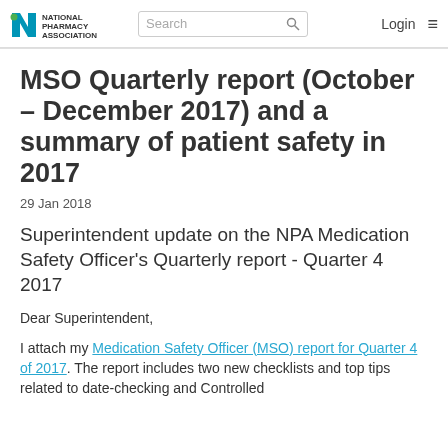NPA National Pharmacy Association | Search | Login
MSO Quarterly report (October – December 2017) and a summary of patient safety in 2017
29 Jan 2018
Superintendent update on the NPA Medication Safety Officer's Quarterly report - Quarter 4 2017
Dear Superintendent,
I attach my Medication Safety Officer (MSO) report for Quarter 4 of 2017. The report includes two new checklists and top tips related to date-checking and Controlled